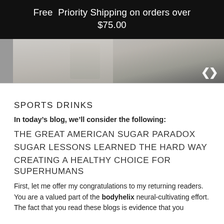Free Priority Shipping on orders over $75.00
[Figure (photo): Partial photo of a person in a grey shirt in what appears to be a gym or studio setting, with a bodyhelix logo watermark in the bottom right corner]
SPORTS DRINKS
In today's blog, we'll consider the following:
THE GREAT AMERICAN SUGAR PARADOX
SUGAR LESSONS LEARNED THE HARD WAY
CREATING A HEALTHY CHOICE FOR SUPERHUMANS
First, let me offer my congratulations to my returning readers. You are a valued part of the bodyhelix neural-cultivating effort. The fact that you read these blogs is evidence that you